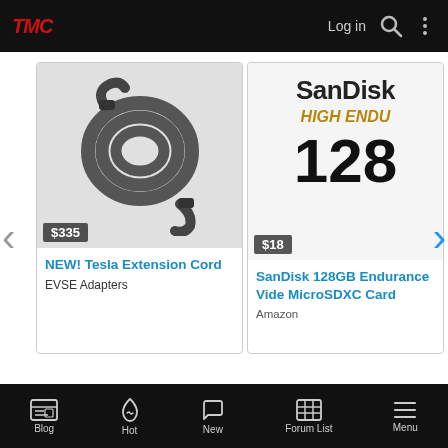TMC | Log in
[Figure (screenshot): Product carousel showing two items: (1) NEW! Tesla Extension Cord at $335 from EVSE Adapters, and (2) SanDisk 128GB High Endurance Video MicroSDXC Card at $18 from Amazon. Navigation arrows on left and right. Powered by Primary attribution.]
Share:
< Model 3
Blog | Hot | New | Forum List | Menu